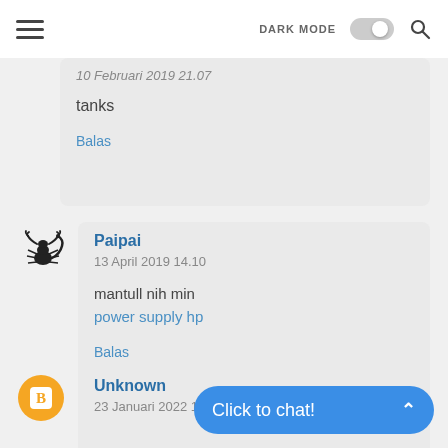DARK MODE [toggle] [search]
10 Februari 2019 21.07
tanks
Balas
[Figure (illustration): Scorpion avatar image]
Paipai
13 April 2019 14.10
mantull nih min
power supply hp
Balas
[Figure (logo): Orange circle Blogger avatar icon]
Unknown
23 Januari 2022 13.12
Click to chat!